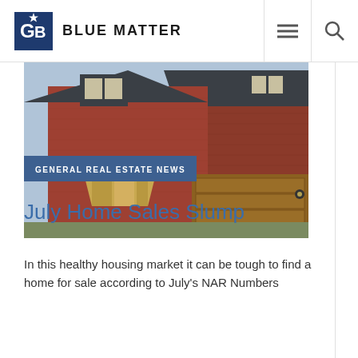BLUE MATTER
[Figure (photo): Exterior photo of a brick house with slate roofs, dormer windows, and a wooden garage door]
GENERAL REAL ESTATE NEWS
July Home Sales Slump
In this healthy housing market it can be tough to find a home for sale according to July's NAR Numbers